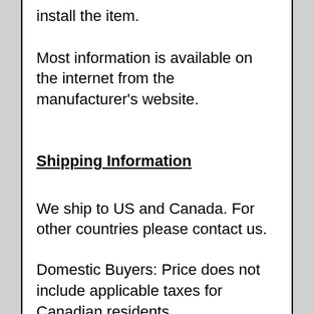install the item.
Most information is available on the internet from the manufacturer's website.
Shipping Information
We ship to US and Canada. For other countries please contact us.
Domestic Buyers: Price does not include applicable taxes for Canadian residents.